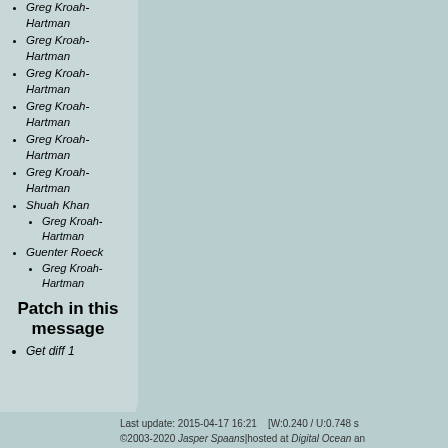Greg Kroah-Hartman
Greg Kroah-Hartman
Greg Kroah-Hartman
Greg Kroah-Hartman
Greg Kroah-Hartman
Greg Kroah-Hartman
Shuah Khan
Greg Kroah-Hartman
Guenter Roeck
Greg Kroah-Hartman
Patch in this message
Get diff 1
Last update: 2015-04-17 16:21    [W:0.240 / U:0.748 s
©2003-2020 Jasper Spaans|hosted at Digital Ocean an